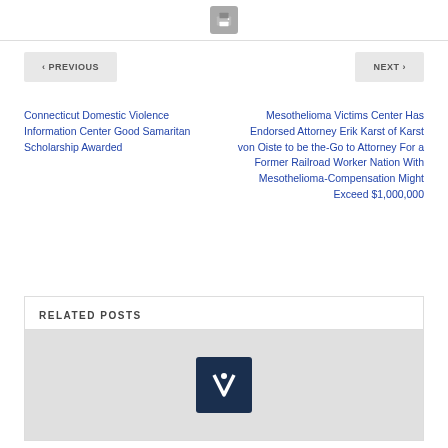[Figure (other): Print icon button at top center]
< PREVIOUS
NEXT >
Connecticut Domestic Violence Information Center Good Samaritan Scholarship Awarded
Mesothelioma Victims Center Has Endorsed Attorney Erik Karst of Karst von Oiste to be the-Go to Attorney For a Former Railroad Worker Nation With Mesothelioma-Compensation Might Exceed $1,000,000
RELATED POSTS
[Figure (logo): Logo with white V symbol on dark navy background, inside a gray placeholder image area]